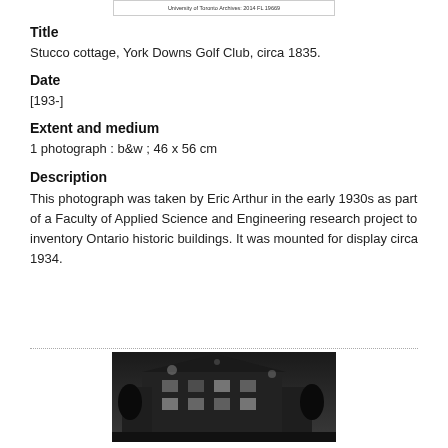University of Toronto Archives: 2014 FL 19669
Title
Stucco cottage, York Downs Golf Club, circa 1835.
Date
[193-]
Extent and medium
1 photograph : b&w ; 46 x 56 cm
Description
This photograph was taken by Eric Arthur in the early 1930s as part of a Faculty of Applied Science and Engineering research project to inventory Ontario historic buildings. It was mounted for display circa 1934.
[Figure (photo): Black and white photograph of a historic building, likely the stucco cottage at York Downs Golf Club, showing a multi-story structure with lights.]